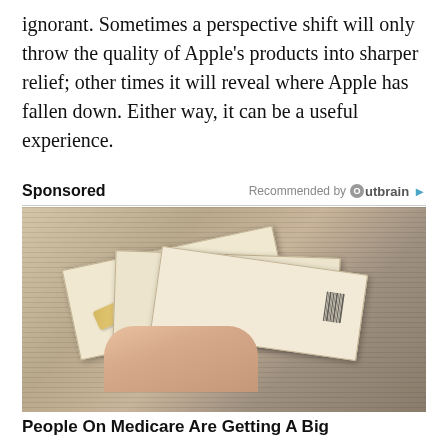ignorant. Sometimes a perspective shift will only throw the quality of Apple's products into sharper relief; other times it will reveal where Apple has fallen down. Either way, it can be a useful experience.
Sponsored   Recommended by Outbrain
[Figure (photo): Photo of a hand holding envelopes with documents and what appears to be a gold credit/debit card]
People On Medicare Are Getting A Big